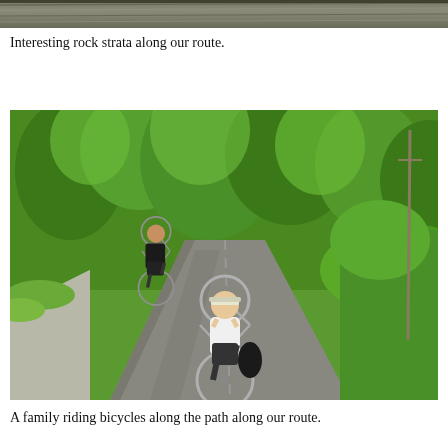[Figure (photo): Top portion of a photo showing interesting rock strata along a route, cropped at the top of the page.]
Interesting rock strata along our route.
[Figure (photo): A family riding bicycles along a paved path surrounded by lush green trees and vegetation.]
A family riding bicycles along the path along our route.